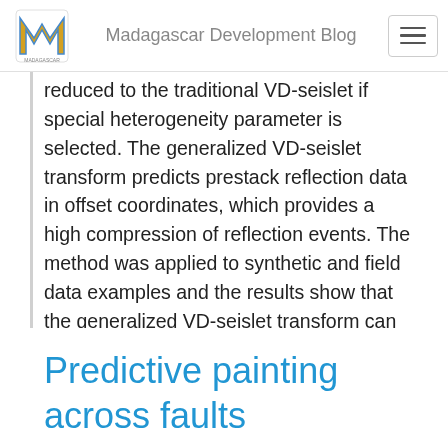Madagascar Development Blog
reduced to the traditional VD-seislet if special heterogeneity parameter is selected. The generalized VD-seislet transform predicts prestack reflection data in offset coordinates, which provides a high compression of reflection events. The method was applied to synthetic and field data examples and the results show that the generalized VD-seislet transform can reconstruct missing data with the help of the modified Bregman iteration even for nonhyperbolic reflections under complex conditions, such as VTI media or aliasing.
Predictive painting across faults